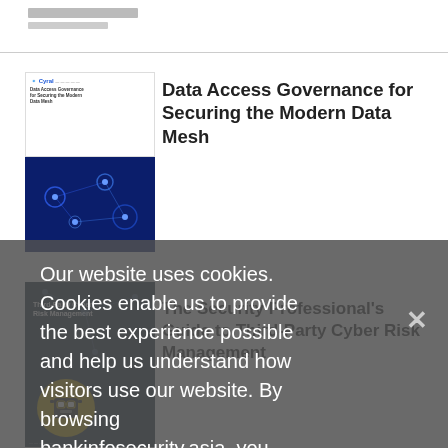bankinfosecurity.asia
[Figure (screenshot): Thumbnail cover of 'Data Access Governance for Securing the Modern Data Mesh' with Cyral logo and blue network graphic]
Data Access Governance for Securing the Modern Data Mesh
[Figure (screenshot): Thumbnail cover of 'Third-Party Cyber Risk Management' with dark background and yellow robot mascot]
The Security Professional's Guide to Third-Party Cyber Risk Management
Our website uses cookies. Cookies enable us to provide the best experience possible and help us understand how visitors use our website. By browsing bankinfosecurity.asia, you agree to our use of cookies.